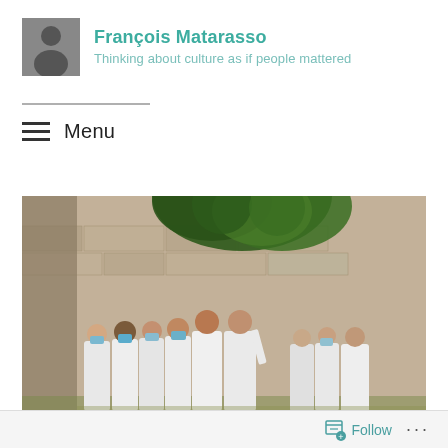François Matarasso
Thinking about culture as if people mattered
Menu
[Figure (photo): Group of people wearing white outfits and face masks standing in front of a stone wall with green foliage above, outdoor setting, daytime.]
Follow ...